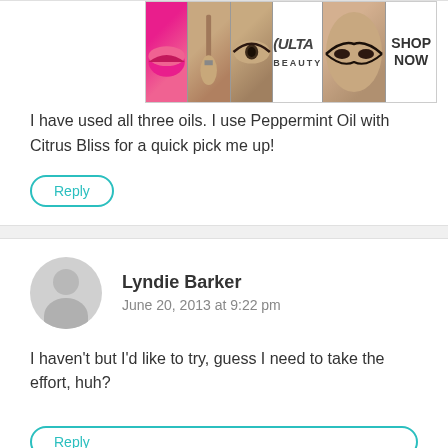[Figure (photo): Ulta beauty advertisement banner with makeup images (lips, brush, eye, Ulta logo, model eyes) and SHOP NOW text]
I have used all three oils. I use Peppermint Oil with Citrus Bliss for a quick pick me up!
Reply
Lyndie Barker
June 20, 2013 at 9:22 pm
I haven't but I'd like to try, guess I need to take the effort, huh?
Reply
[Figure (photo): MAC cosmetics advertisement banner with purple, peach, and pink lipsticks, MAC logo, SHOP NOW button, and red lipstick]
CLOSE